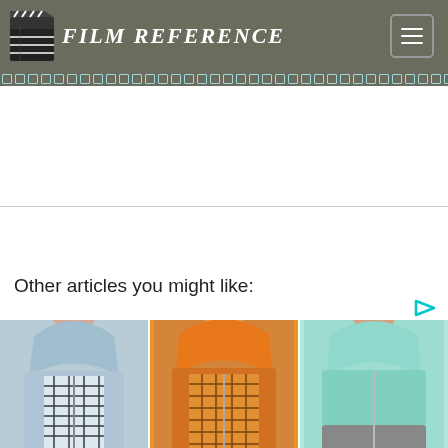Film Reference
Other articles you might like:
[Figure (photo): Advertisement image showing three women wearing zip-up hooded jackets: left panel shows a blue/white plaid hoodie, center shows an orange plaid hoodie, right shows a mint/grey color-block hoodie.]